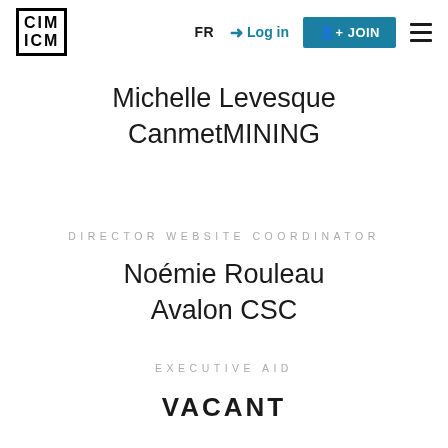[Figure (logo): CIM ICM logo in black block letters with border]
FR  Log in  + JOIN  ☰
Michelle Levesque
CanmetMINING
DIRECTOR WEBSITE COORDINATOR
Noémie Rouleau
Avalon CSC
EXECUTIVE AID
VACANT